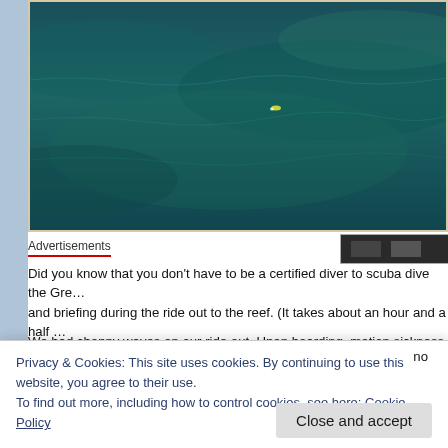[Figure (photo): Aerial view of deep blue-green ocean water, possibly the Great Barrier Reef, with a small figure or object visible on the water surface.]
Advertisements
Did you know that you don't have to be a certified diver to scuba dive the Gre... and briefing during the ride out to the reef. (It takes about an hour and a half ...
We had choppy waves on our ride out. Upon boarding, motion sickness medi... ginger tablets were complimentary. I asked a staff member if I should purchas... ...ng ...t e... ...no
Privacy & Cookies: This site uses cookies. By continuing to use this website, you agree to their use.
To find out more, including how to control cookies, see here: Cookie Policy